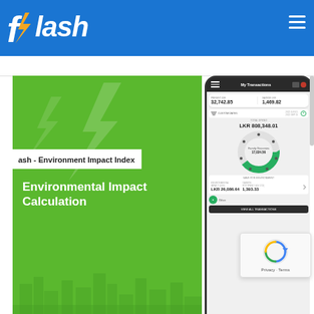flash
[Figure (screenshot): Flash app promotional banner showing Environmental Impact Calculation screen with a mobile phone mockup displaying My Transactions screen. Green background with lightning bolt decoration, city skyline silhouette. Phone screen shows balance 32,742.85 and savings 1,469.82, total spend LKR 808,348.01, donut chart, environmental impact index LKR 26,086.64, carbon footprint 1,393.33.]
ash - Environment Impact Index
Environmental Impact Calculation
Published on December 22, 2020 at 5:05 pm